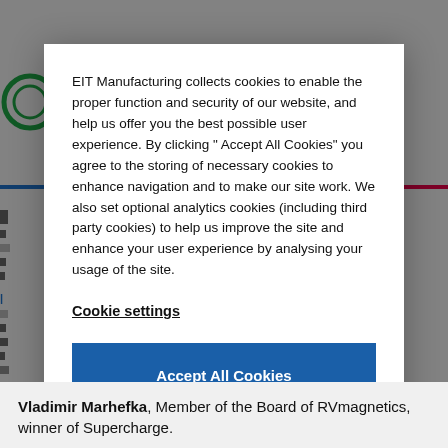EIT Manufacturing collects cookies to enable the proper function and security of our website, and help us offer you the best possible user experience. By clicking “ Accept All Cookies” you agree to the storing of necessary cookies to enhance navigation and to make our site work. We also set optional analytics cookies (including third party cookies) to help us improve the site and enhance your user experience by analysing your usage of the site.
Cookie settings
Accept All Cookies
Vladimir Marhefka, Member of the Board of RVmagnetics, winner of Supercharge.